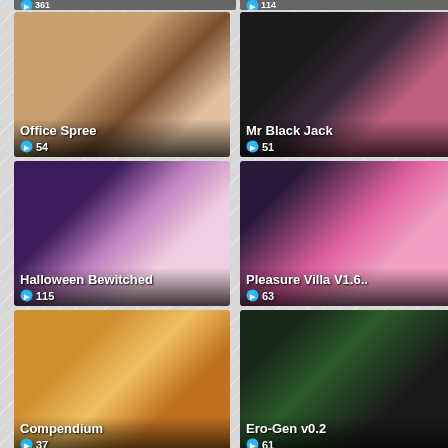[Figure (screenshot): Grid of adult game thumbnails with titles and play counts. Top partial cards showing counts 361 and 114. Cards shown: Office Spree (54), Mr Black Jack (51), Halloween Bewitched (115), Pleasure Villa V1.6.. (63), Compendium (37), Ero-Gen v0.2 (61), plus two partial bottom cards.]
Office Spree 54
Mr Black Jack 51
Halloween Bewitched 115
Pleasure Villa V1.6.. 63
Compendium 37
Ero-Gen v0.2 61